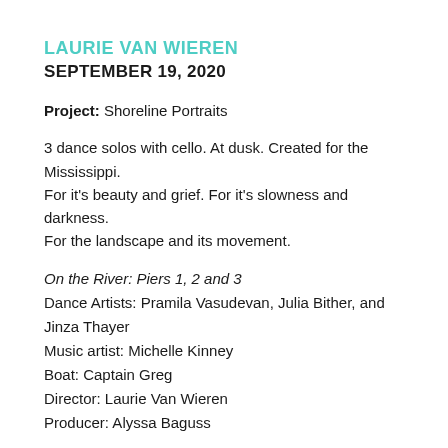LAURIE VAN WIEREN
SEPTEMBER 19, 2020
Project: Shoreline Portraits
3 dance solos with cello. At dusk. Created for the Mississippi.
For it's beauty and grief. For it's slowness and darkness.
For the landscape and its movement.
On the River: Piers 1, 2 and 3
Dance Artists: Pramila Vasudevan, Julia Bither, and Jinza Thayer
Music artist: Michelle Kinney
Boat: Captain Greg
Director: Laurie Van Wieren
Producer: Alyssa Baguss